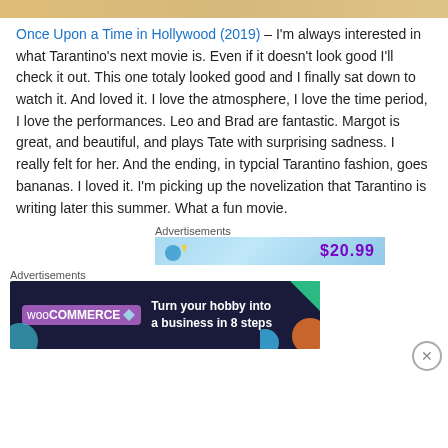[Figure (photo): Top image bar, partial movie still visible]
Once Upon a Time in Hollywood (2019) – I'm always interested in what Tarantino's next movie is.  Even if it doesn't look good I'll check it out.  This one totaly looked good and I finally sat down to watch it.  And loved it.  I love the atmosphere, I love the time period, I love the performances.  Leo and Brad are fantastic.  Margot is great, and beautiful, and plays Tate with surprising sadness.  I really felt for her.  And the ending, in typcial Tarantino fashion, goes bananas.  I loved it.  I'm picking up the novelization that Tarantino is writing later this summer.  What a fun movie.
Advertisements
[Figure (screenshot): Advertisement banner showing $20.99 price with blue gradient background]
Advertisements
[Figure (screenshot): WooCommerce advertisement: Turn your hobby into a business in 8 steps]